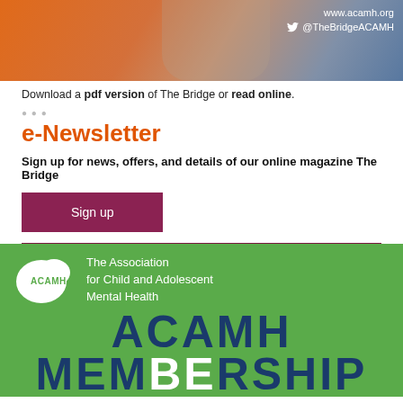[Figure (photo): Top banner image showing a person with orange and blue background, with website URL www.acamh.org and Twitter handle @TheBridgeACAMH]
Download a pdf version of The Bridge or read online.
e-Newsletter
Sign up for news, offers, and details of our online magazine The Bridge
Sign up
[Figure (logo): ACAMH green banner with logo showing The Association for Child and Adolescent Mental Health, and large text ACAMH MEMBERSHIP]